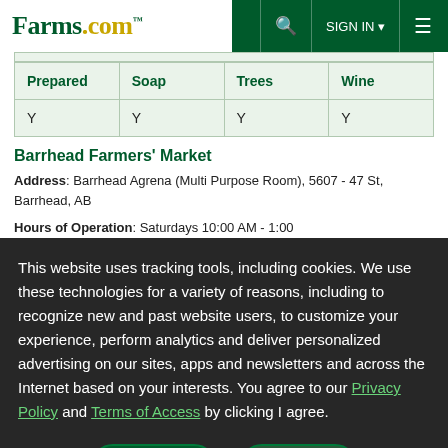Farms.com | SIGN IN | Menu
| Prepared | Soap | Trees | Wine |
| --- | --- | --- | --- |
| Y | Y | Y | Y |
Barrhead Farmers' Market
Address: Barrhead Agrena (Multi Purpose Room), 5607 - 47 St, Barrhead, AB
Hours of Operation: Saturdays 10:00 AM - 1:00
This website uses tracking tools, including cookies. We use these technologies for a variety of reasons, including to recognize new and past website users, to customize your experience, perform analytics and deliver personalized advertising on our sites, apps and newsletters and across the Internet based on your interests. You agree to our Privacy Policy and Terms of Access by clicking I agree.